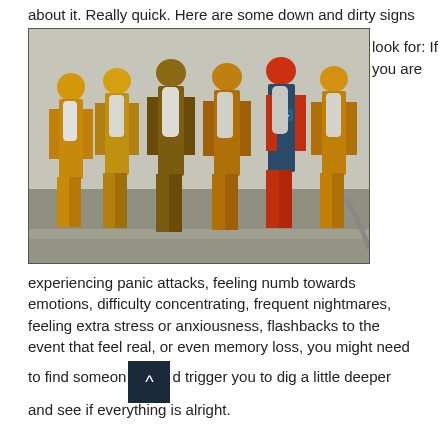about it. Really quick. Here are some down and dirty signs to
look for: If you are
[Figure (photo): Group of firefighters in full gear (yellow suits, helmets, oxygen tanks) viewed from behind, walking together and carrying equipment including a hose.]
experiencing panic attacks, feeling numb towards emotions, difficulty concentrating, frequent nightmares, feeling extra stress or anxiousness, flashbacks to the event that feel real, or even memory loss, you might need to find someone to talk to about it. These are just some quick signs that should trigger you to dig a little deeper and see if everything is alright.